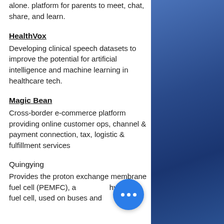alone. platform for parents to meet, chat, share, and learn.
HealthVox
Developing clinical speech datasets to improve the potential for artificial intelligence and machine learning in healthcare tech.
Magic Bean
Cross-border e-commerce platform providing online customer ops, channel & payment connection, tax, logistic & fulfillment services
Quingying
Provides the proton exchange membrane fuel cell (PEMFC), a hydrogen fuel cell, used on buses and